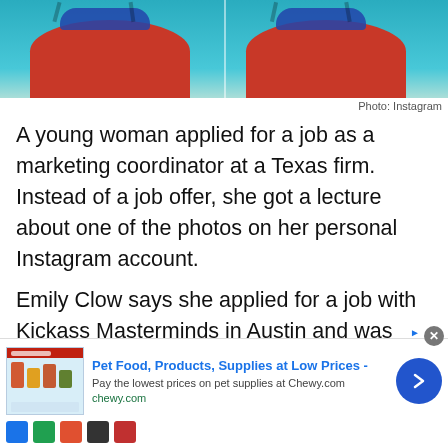[Figure (photo): Two side-by-side photos of a woman in a red swimsuit with swim goggles, showing torso near water with blue/teal background]
Photo: Instagram
A young woman applied for a job as a marketing coordinator at a Texas firm. Instead of a job offer, she got a lecture about one of the photos on her personal Instagram account.
Emily Clow says she applied for a job with Kickass Masterminds in Austin and was preparing for an interview with them by checking out their social media feeds.
[Figure (screenshot): Advertisement for Chewy.com: Pet Food, Products, Supplies at Low Prices - Pay the lowest prices on pet supplies at Chewy.com]